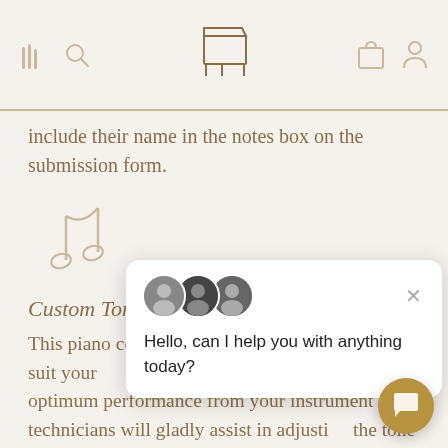[Navigation bar with menu, search, piano logo, bag and profile icons]
include their name in the notes box on the submission form.
[Figure (illustration): Two musical notes icon in gold/tan outline style]
Custom Toning
This piano comes w... service to suit your... preferences. To ens... optimum performance from your instrument our technicians will gladly assist in adjusti... the tone – please inform a staff member o... include in the comments box at the checko... which toning grade you would like this pia...
[Figure (screenshot): Chat widget popup showing three circular avatar photos, an X close button, and the message: Hello, can I help you with anything today?]